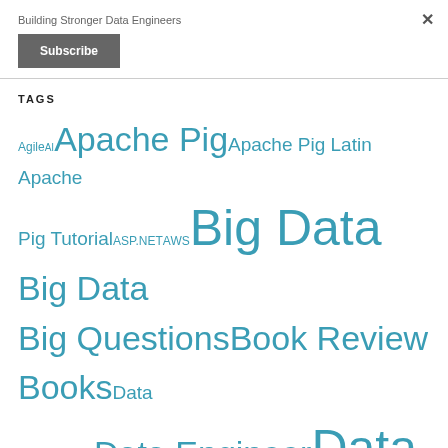Building Stronger Data Engineers
Subscribe
TAGS
Agile AI Apache Pig Apache Pig Latin Apache Pig Tutorial ASP.NET AWS Big Data Big Data Big Questions Book Review Books Data Analytics Data Engineer Data Engineers Data Science Deep Learning DynamoDB Hadoop Hadoop Distributed File System Hadoop Pig HBase HDFS IoT Isilon Isilon Quick Tips Learn